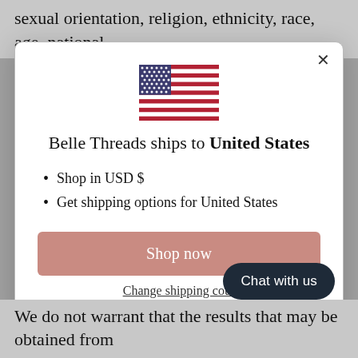sexual orientation, religion, ethnicity, race, age, national
[Figure (screenshot): Modal dialog showing US flag with text 'Belle Threads ships to United States', bullet points 'Shop in USD $' and 'Get shipping options for United States', a pink 'Shop now' button, and a 'Change shipping country' link. A dark 'Chat with us' button overlays bottom-right.]
We do not warrant that the results that may be obtained from